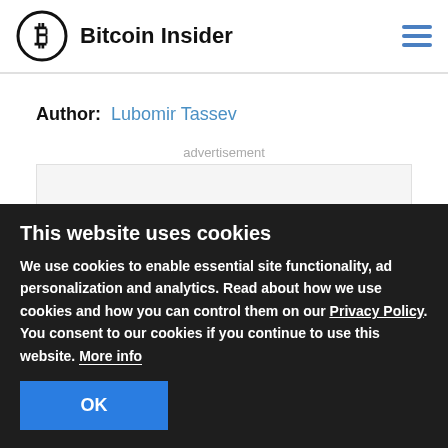Bitcoin Insider
Author: Lubomir Tassev
advertisement
This website uses cookies
We use cookies to enable essential site functionality, ad personalization and analytics. Read about how we use cookies and how you can control them on our Privacy Policy. You consent to our cookies if you continue to use this website. More info